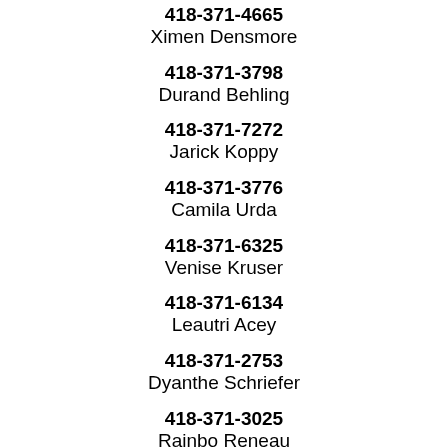418-371-4665
Ximen Densmore
418-371-3798
Durand Behling
418-371-7272
Jarick Koppy
418-371-3776
Camila Urda
418-371-6325
Venise Kruser
418-371-6134
Leautri Acey
418-371-2753
Dyanthe Schriefer
418-371-3025
Rainbo Reneau
418-371-8451
Joannanette Pollen